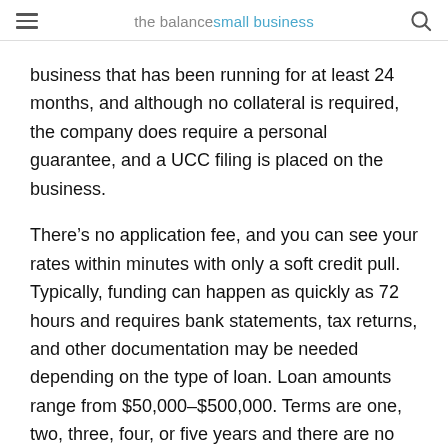the balance small business
business that has been running for at least 24 months, and although no collateral is required, the company does require a personal guarantee, and a UCC filing is placed on the business.
There’s no application fee, and you can see your rates within minutes with only a soft credit pull. Typically, funding can happen as quickly as 72 hours and requires bank statements, tax returns, and other documentation may be needed depending on the type of loan. Loan amounts range from $50,000–$500,000. Terms are one, two, three, four, or five years and there are no prepayment penalties if you want to pay off the loan early.
Credibility Capital has excellent customer reviews.